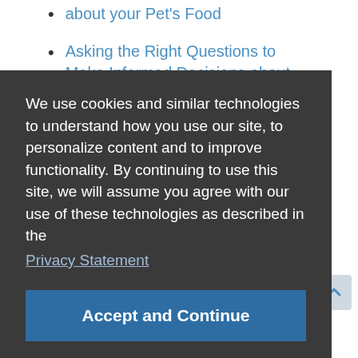about your Pet's Food
Asking the Right Questions to Make Informed Decisions about Pet Foods
We hope you find the information and
We use cookies and similar technologies to understand how you use our site, to personalize content and to improve functionality. By continuing to use this site, we will assume you agree with our use of these technologies as described in the Privacy Statement
Accept and Continue